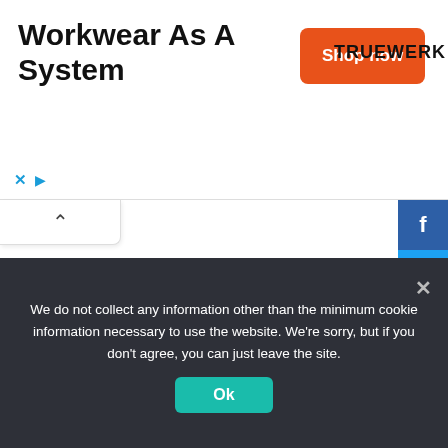[Figure (screenshot): Advertisement banner for Truewerk workwear with orange 'Shop now' button and TRUEWERK logo]
Workwear As A System
[Figure (screenshot): Collapse/chevron up button and ad controls (x, play icons)]
[Figure (screenshot): Social share sidebar with Facebook, Twitter, LinkedIn, Pinterest, Reddit buttons]
Angel Number
We do not collect any information other than the minimum cookie information necessary to use the website. We're sorry, but if you don't agree, you can just leave the site.
Ok